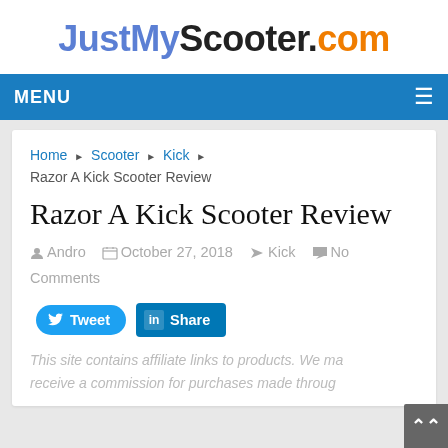JustMyScooter.com
MENU
Home > Scooter > Kick > Razor A Kick Scooter Review
Razor A Kick Scooter Review
Andro  October 27, 2018  Kick  No Comments
[Figure (other): Tweet and Share social media buttons]
This site contains affiliate links to products. We may receive a commission for purchases made through these links.